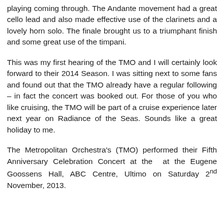playing coming through. The Andante movement had a great cello lead and also made effective use of the clarinets and a lovely horn solo. The finale brought us to a triumphant finish and some great use of the timpani.
This was my first hearing of the TMO and I will certainly look forward to their 2014 Season. I was sitting next to some fans and found out that the TMO already have a regular following – in fact the concert was booked out. For those of you who like cruising, the TMO will be part of a cruise experience later next year on Radiance of the Seas. Sounds like a great holiday to me.
The Metropolitan Orchestra's (TMO) performed their Fifth Anniversary Celebration Concert at the at the Eugene Goossens Hall, ABC Centre, Ultimo on Saturday 2nd November, 2013.